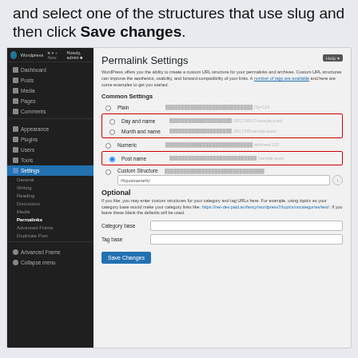and select one of the structures that use slug and then click Save changes.
[Figure (screenshot): WordPress admin screenshot showing the Permalink Settings page. The sidebar shows WordPress menu items including Dashboard, Posts, Media, Pages, Comments, Appearance, Plugins, Users, Tools, Settings (active/highlighted in blue) with submenu items: General, Writing, Reading, Discussion, Media, Permalinks (bold), Advanced Frame, Duplicate Post, and Advanced Frame/Collapse menu at bottom. The main content area shows Permalink Settings with description text, Common Settings section with radio options: Plain, Day and name (highlighted with red border), Month and name (highlighted with red border), Numeric, Post name (highlighted with red border, selected), Custom Structure with a text field showing /%postname%/. Optional section below with category and tag base fields and a Save Changes button.]